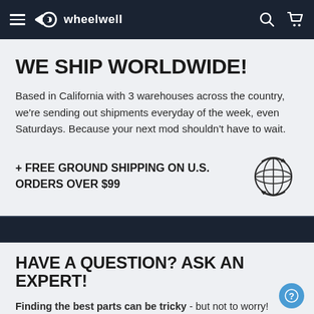wheelwell
WE SHIP WORLDWIDE!
Based in California with 3 warehouses across the country, we're sending out shipments everyday of the week, even Saturdays. Because your next mod shouldn't have to wait.
+ FREE GROUND SHIPPING ON U.S. ORDERS OVER $99
[Figure (illustration): Globe icon with circular arrows indicating worldwide shipping]
HAVE A QUESTION? ASK AN EXPERT!
Finding the best parts can be tricky - but not to worry! Our team of experienced American Monday-1PM-5...